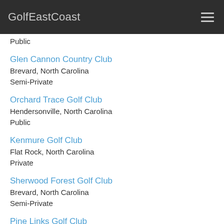GolfEastCoast
Public
Glen Cannon Country Club
Brevard, North Carolina
Semi-Private
Orchard Trace Golf Club
Hendersonville, North Carolina
Public
Kenmure Golf Club
Flat Rock, North Carolina
Private
Sherwood Forest Golf Club
Brevard, North Carolina
Semi-Private
Pine Links Golf Club
Flat Rock, North Carolina